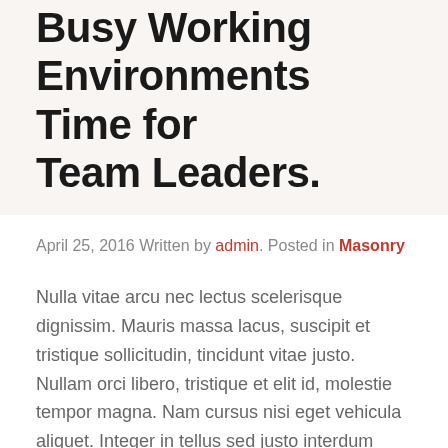Busy Working Environments Time for Team Leaders.
April 25, 2016 Written by admin. Posted in Masonry
Nulla vitae arcu nec lectus scelerisque dignissim. Mauris massa lacus, suscipit et tristique sollicitudin, tincidunt vitae justo. Nullam orci libero, tristique et elit id, molestie tempor magna. Nam cursus nisi eget vehicula aliquet. Integer in tellus sed justo interdum pretium. Curabitur varius finibus sodales. In egestas mauris sed arcu tincidunt...
Audio Post Example